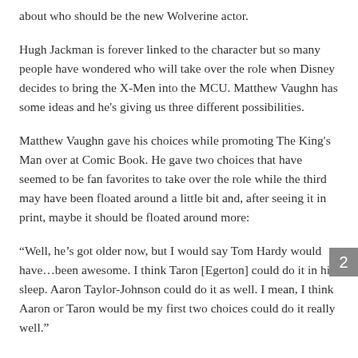about who should be the new Wolverine actor.
Hugh Jackman is forever linked to the character but so many people have wondered who will take over the role when Disney decides to bring the X-Men into the MCU. Matthew Vaughn has some ideas and he's giving us three different possibilities.
Matthew Vaughn gave his choices while promoting The King's Man over at Comic Book. He gave two choices that have seemed to be fan favorites to take over the role while the third may have been floated around a little bit and, after seeing it in print, maybe it should be floated around more:
“Well, he’s got older now, but I would say Tom Hardy would have…been awesome. I think Taron [Egerton] could do it in his sleep. Aaron Taylor-Johnson could do it as well. I mean, I think Aaron or Taron would be my first two choices could do it really well.”